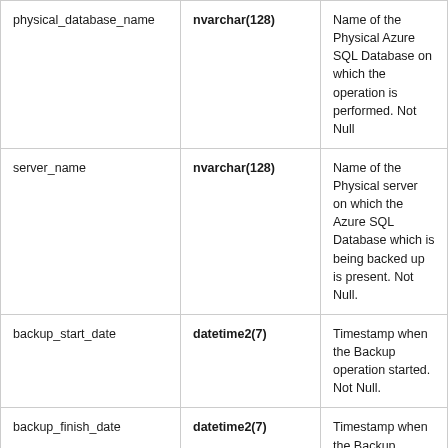| Column | Type | Description |
| --- | --- | --- |
| physical_database_name | nvarchar(128) | Name of the Physical Azure SQL Database on which the operation is performed. Not Null |
| server_name | nvarchar(128) | Name of the Physical server on which the Azure SQL Database which is being backed up is present. Not Null. |
| backup_start_date | datetime2(7) | Timestamp when the Backup operation started. Not Null. |
| backup_finish_date | datetime2(7) | Timestamp when the Backup... |